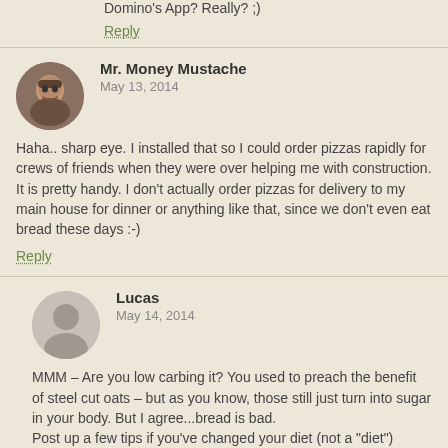Domino's App? Really? ;)
Reply
Mr. Money Mustache
May 13, 2014
Haha.. sharp eye. I installed that so I could order pizzas rapidly for crews of friends when they were over helping me with construction. It is pretty handy. I don't actually order pizzas for delivery to my main house for dinner or anything like that, since we don't even eat bread these days :-)
Reply
Lucas
May 14, 2014
MMM – Are you low carbing it? You used to preach the benefit of steel cut oats – but as you know, those still just turn into sugar in your body. But I agree...bread is bad.
Post up a few tips if you've changed your diet (not a "diet") plans. I'm a former fatty still working through all of this.